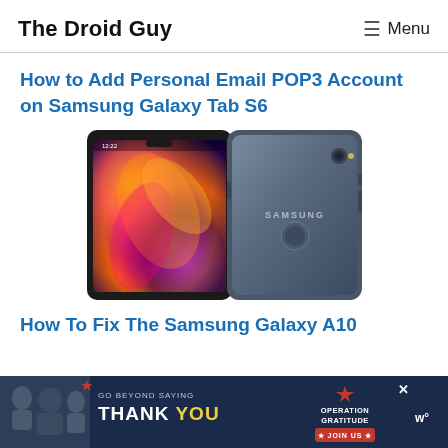The Droid Guy   ☰ Menu
How to Add Personal Email POP3 Account on Samsung Galaxy Tab S6
[Figure (photo): Samsung Galaxy A10 smartphone shown from front (colorful abstract wallpaper) and back (dark gray SAMSUNG branded back panel)]
How To Fix The Samsung Galaxy A10
[Figure (screenshot): Advertisement banner: 'GO BEYOND SAYING THANK YOU' with Operation Gratitude logo and JOIN US button]